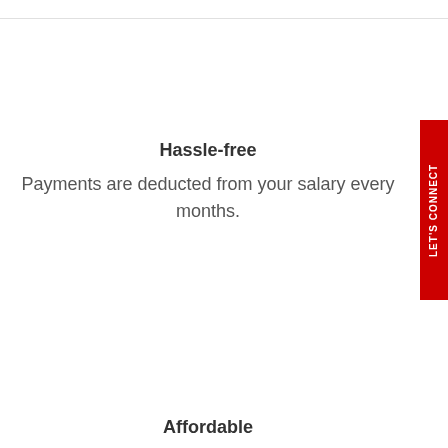Hassle-free
Payments are deducted from your salary every months.
Affordable